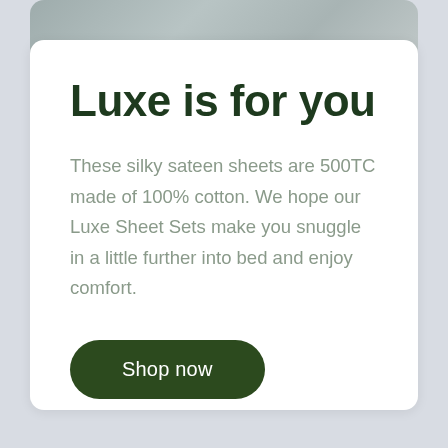[Figure (photo): Partial view of bed linen / sateen sheets in a gray-toned bedroom, cropped at the top of the card]
Luxe is for you
These silky sateen sheets are 500TC made of 100% cotton. We hope our Luxe Sheet Sets make you snuggle in a little further into bed and enjoy comfort.
Shop now